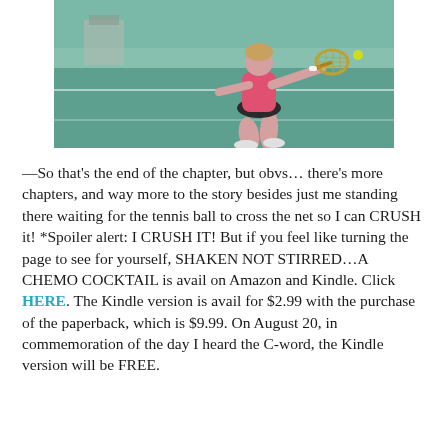[Figure (photo): A woman in a pink top and black skirt playing tennis on a green court, bent forward swinging a racket.]
—So that's the end of the chapter, but obvs... there's more chapters, and way more to the story besides just me standing there waiting for the tennis ball to cross the net so I can CRUSH it! *Spoiler alert: I CRUSH IT! But if you feel like turning the page to see for yourself, SHAKEN NOT STIRRED...A CHEMO COCKTAIL is avail on Amazon and Kindle. Click HERE. The Kindle version is avail for $2.99 with the purchase of the paperback, which is $9.99. On August 20, in commemoration of the day I heard the C-word, the Kindle version will be FREE.